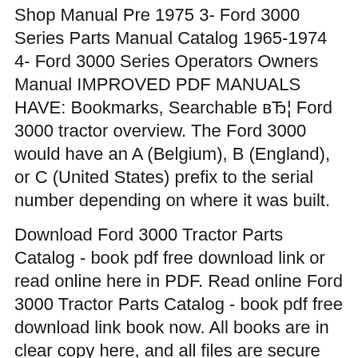Shop Manual Pre 1975 3- Ford 3000 Series Parts Manual Catalog 1965-1974 4- Ford 3000 Series Operators Owners Manual IMPROVED PDF MANUALS HAVE: Bookmarks, Searchable вЂ¦ Ford 3000 tractor overview. The Ford 3000 would have an A (Belgium), B (England), or C (United States) prefix to the serial number depending on where it was built.
Download Ford 3000 Tractor Parts Catalog - book pdf free download link or read online here in PDF. Read online Ford 3000 Tractor Parts Catalog - book pdf free download link book now. All books are in clear copy here, and all files are secure so don't worry about it.